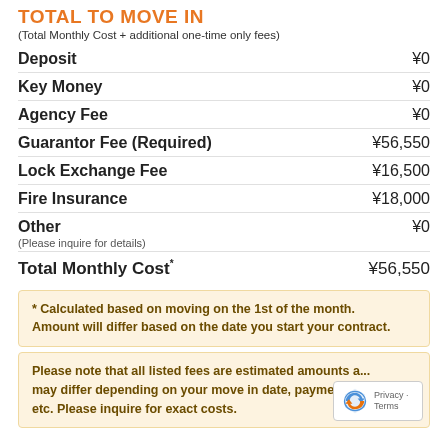TOTAL TO MOVE IN
(Total Monthly Cost + additional one-time only fees)
| Item | Amount |
| --- | --- |
| Deposit | ¥0 |
| Key Money | ¥0 |
| Agency Fee | ¥0 |
| Guarantor Fee (Required) | ¥56,550 |
| Lock Exchange Fee | ¥16,500 |
| Fire Insurance | ¥18,000 |
| Other
(Please inquire for details) | ¥0 |
| Total Monthly Cost* | ¥56,550 |
* Calculated based on moving on the 1st of the month. Amount will differ based on the date you start your contract.
Please note that all listed fees are estimated amounts and may differ depending on your move in date, payment me... etc. Please inquire for exact costs.